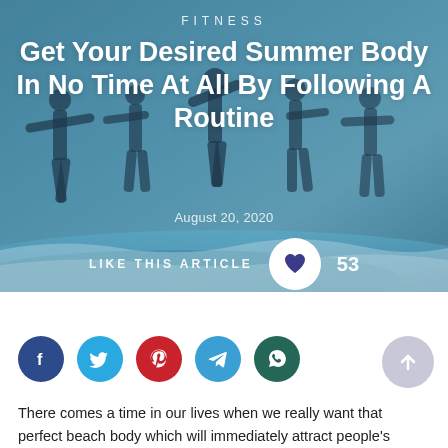FITNESS
Get Your Desired Summer Body In No Time At All By Following A Routine
August 20, 2020
LIKE THIS ARTICLE  53
[Figure (illustration): Social media share buttons: Facebook, Twitter, Pinterest, Telegram, WhatsApp, and a scroll-to-top arrow button]
There comes a time in our lives when we really want that perfect beach body which will immediately attract people's attention and judging by the fact that the summer season